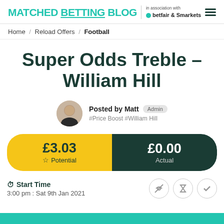MATCHED BETTING BLOG in association with betfair & Smarkets
Home / Reload Offers / Football
Super Odds Treble – William Hill
Posted by Matt Admin #Price Boost #William Hill
£3.03 Potential  £0.00 Actual
Start Time  3:00 pm : Sat 9th Jan 2021